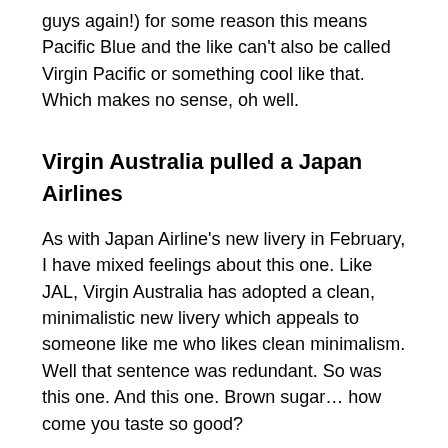guys again!) for some reason this means Pacific Blue and the like can't also be called Virgin Pacific or something cool like that. Which makes no sense, oh well.
Virgin Australia pulled a Japan Airlines
As with Japan Airline's new livery in February, I have mixed feelings about this one. Like JAL, Virgin Australia has adopted a clean, minimalistic new livery which appeals to someone like me who likes clean minimalism. Well that sentence was redundant. So was this one. And this one. Brown sugar… how come you taste so good?
Where was I? Oh yeah, firetrucks. Did you know in airports they're often coloured yellow for visibility? So "Fire Engine Red" in this case would be… yellow. Funny story.